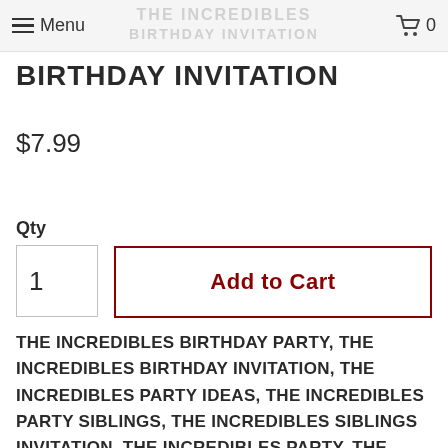Menu | Cart 0
THE INCREDIBLES BIRTHDAY INVITATION
$7.99
Qty
1
Add to Cart
THE INCREDIBLES BIRTHDAY PARTY, THE INCREDIBLES BIRTHDAY INVITATION, THE INCREDIBLES PARTY IDEAS, THE INCREDIBLES PARTY SIBLINGS, THE INCREDIBLES SIBLINGS INVITATION, THE INCREDIBLES PARTY, THE INCREDIBLES